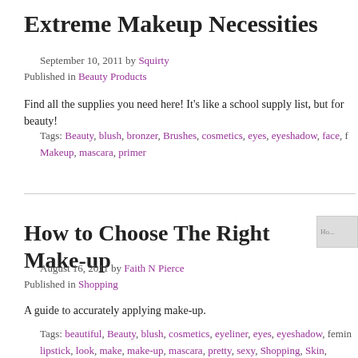Extreme Makeup Necessities
September 10, 2011 by Squirty
Published in Beauty Products
Find all the supplies you need here! It's like a school supply list, but for beauty!
Tags: Beauty, blush, bronzer, Brushes, cosmetics, eyes, eyeshadow, face, f Makeup, mascara, primer
How to Choose The Right Make-up
August 16, 2011 by Faith N Pierce
Published in Shopping
A guide to accurately applying make-up.
Tags: beautiful, Beauty, blush, cosmetics, eyeliner, eyes, eyeshadow, femin lipstick, look, make, make-up, mascara, pretty, sexy, Shopping, Skin, smokey, s